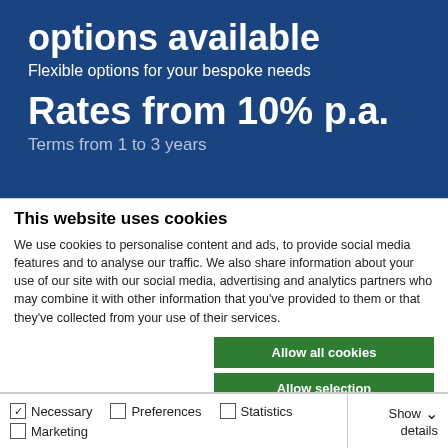options available
Flexible options for your bespoke needs
Rates from 10% p.a.
Terms from 1 to 3 years
This website uses cookies
We use cookies to personalise content and ads, to provide social media features and to analyse our traffic. We also share information about your use of our site with our social media, advertising and analytics partners who may combine it with other information that you've provided to them or that they've collected from your use of their services.
Allow all cookies
Allow selection
Use necessary cookies only
Necessary  Preferences  Statistics  Marketing  Show details